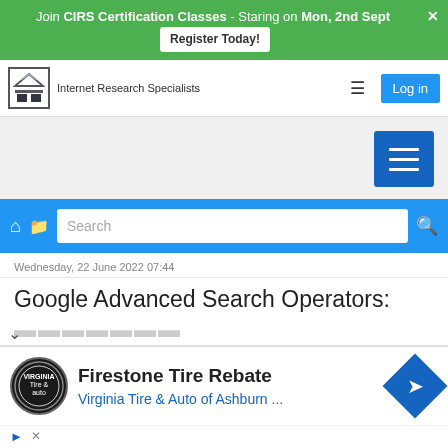Join CIRS Certification Classes - Staring on Mon, 2nd Sept  Register Today!
[Figure (screenshot): Internet Research Specialists logo and navigation bar with hamburger menu and Log in button]
[Figure (screenshot): Gray area with blue hamburger menu button on right]
[Figure (screenshot): Blue search bar with home icon, folder icon, search input field, and magnifying glass icon]
Wednesday, 22 June 2022 07:44
Google Advanced Search Operators:
[Figure (screenshot): Ad banner: Firestone Tire Rebate - Virginia Tire & Auto of Ashburn ...]